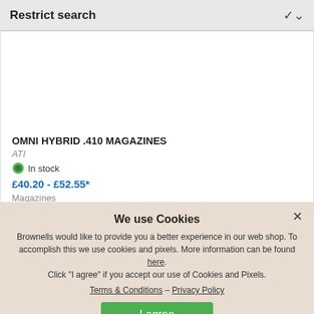Restrict search
OMNI HYBRID .410 MAGAZINES
ATI
In stock
£40.20 - £52.55*
Magazines
0 (0)
We use Cookies
Brownells would like to provide you a better experience in our web shop. To accomplish this we use cookies and pixels. More information can be found here. Click "I agree" if you accept our use of Cookies and Pixels.
Terms & Conditions – Privacy Policy
I agree